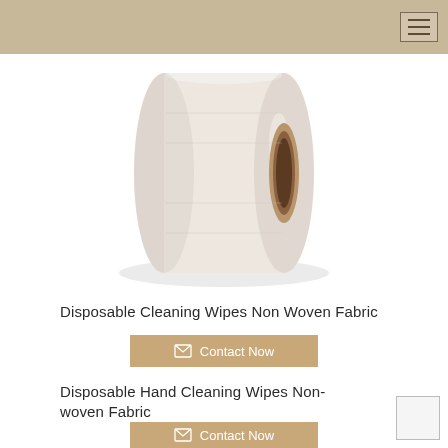[Figure (photo): A large roll of white non-woven fabric / disposable cleaning wipes, showing the cylindrical roll with a cardboard core visible from the front-right angle.]
Disposable Cleaning Wipes Non Woven Fabric
Contact Now
Disposable Hand Cleaning Wipes Non-woven Fabric
Contact Now